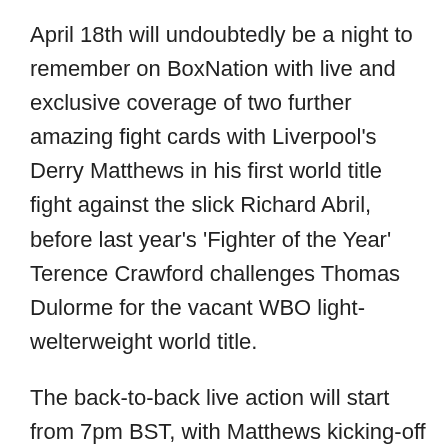April 18th will undoubtedly be a night to remember on BoxNation with live and exclusive coverage of two further amazing fight cards with Liverpool's Derry Matthews in his first world title fight against the slick Richard Abril, before last year's 'Fighter of the Year' Terence Crawford challenges Thomas Dulorme for the vacant WBO light-welterweight world title.
The back-to-back live action will start from 7pm BST, with Matthews kicking-off an incredible lineup on BoxNation before Argentine bruiser Matthysse and Siberian sensation Provodnikov do battle Stateside, with Crawford and Dulorme topping off a truly monster